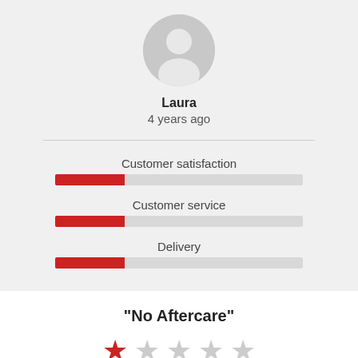[Figure (illustration): Generic user avatar icon — grey circle with silhouette of person]
Laura
4 years ago
Customer satisfaction
[Figure (other): Horizontal rating bar for Customer satisfaction — red fill approximately 2/7 of total width]
Customer service
[Figure (other): Horizontal rating bar for Customer service — red fill approximately 2/7 of total width]
Delivery
[Figure (other): Horizontal rating bar for Delivery — red fill approximately 2/7 of total width]
"No Aftercare"
[Figure (other): 1 out of 5 stars rating — first star filled red, remaining four stars grey]